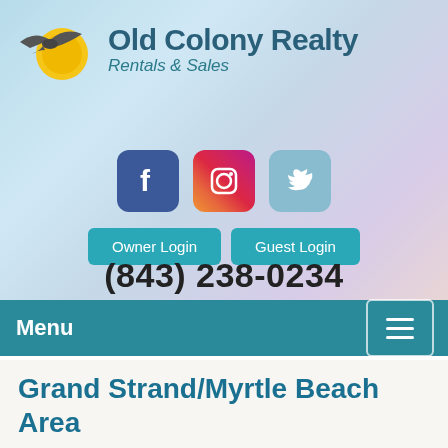[Figure (logo): Old Colony Realty logo with seagull and sun graphic, company name 'Old Colony Realty Rentals & Sales']
[Figure (infographic): Social media icons: Facebook (blue), Instagram (gradient), Twitter (light blue)]
Owner Login   Guest Login
(843) 238-0234
Menu
Grand Strand/Myrtle Beach Area
Whether your idea of the perfect vacation is curling up with a good book on your oceanfront balcony, getting an early tee time and spending the day golfing, shopping 'til you drop, getting wet on the water slides, dinning at some of the 100's of